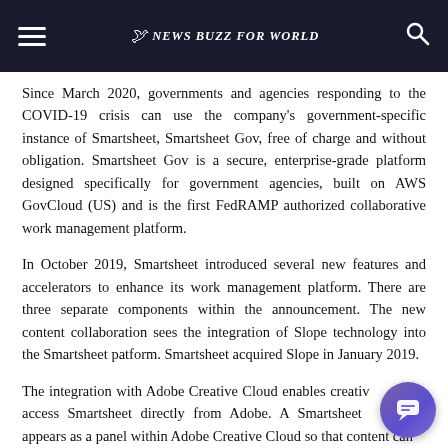News Buzz For World
Since March 2020, governments and agencies responding to the COVID-19 crisis can use the company's government-specific instance of Smartsheet, Smartsheet Gov, free of charge and without obligation. Smartsheet Gov is a secure, enterprise-grade platform designed specifically for government agencies, built on AWS GovCloud (US) and is the first FedRAMP authorized collaborative work management platform.
In October 2019, Smartsheet introduced several new features and accelerators to enhance its work management platform. There are three separate components within the announcement. The new content collaboration sees the integration of Slope technology into the Smartsheet patform. Smartsheet acquired Slope in January 2019.
The integration with Adobe Creative Cloud enables creative users to access Smartsheet directly from Adobe. A Smartsheet extension appears as a panel within Adobe Creative Cloud so that content can